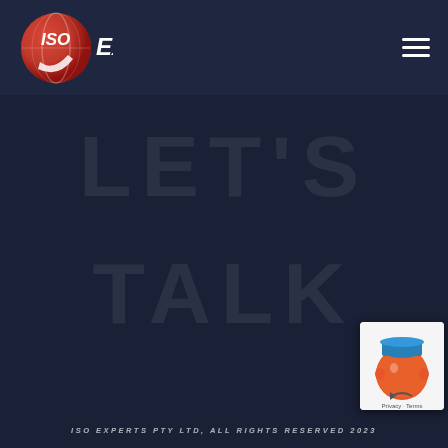[Figure (logo): ISO Experts logo — red circular globe icon with white ISO text and a checkmark, followed by 'Experts' in white italic text]
[Figure (illustration): Hamburger menu icon (three white horizontal lines) in top right corner]
[Figure (illustration): Large faint watermark text 'LET'S' and 'TALK' in very low opacity white on dark navy background]
[Figure (illustration): reCAPTCHA widget in bottom right corner showing orange/red circular character with blue hat]
ISO EXPERTS PTY LTD, ALL RIGHTS RESERVED 2023